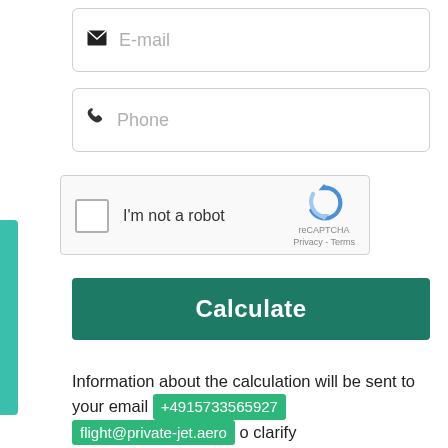[Figure (screenshot): E-mail input field with envelope icon and placeholder text]
[Figure (screenshot): Phone input field with phone icon and placeholder text]
[Figure (screenshot): reCAPTCHA widget with checkbox labeled I'm not a robot]
[Figure (screenshot): Calculate button in dark teal/green color]
Information about the calculation will be sent to your email +4915733565927 flight@private-jet.aero o clarify the d